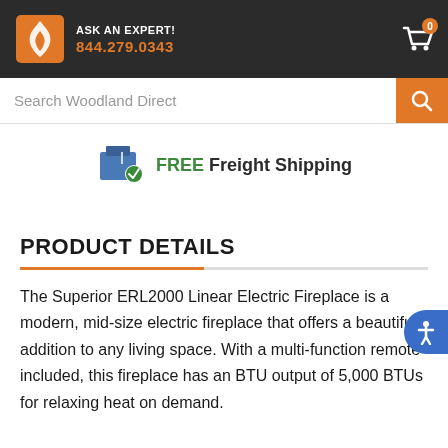ASK AN EXPERT! 844.279.0343
Search Woodland Direct
FREE Freight Shipping
PRODUCT DETAILS
The Superior ERL2000 Linear Electric Fireplace is a modern, mid-size electric fireplace that offers a beautiful addition to any living space. With a multi-function remote included, this fireplace has an BTU output of 5,000 BTUs for relaxing heat on demand.